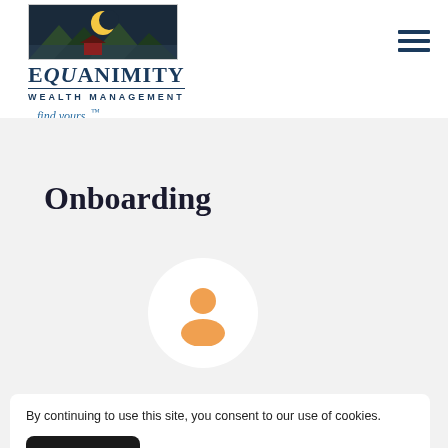[Figure (logo): Equanimity Wealth Management logo with mountain/lake scene image, company name in navy serif font, tagline '...find yours. TM' in blue italic]
[Figure (illustration): Hamburger menu icon with three horizontal navy lines]
Onboarding
[Figure (illustration): Person/user silhouette icon in orange on a white circle, partially visible]
By continuing to use this site, you consent to our use of cookies.
ACCEPT